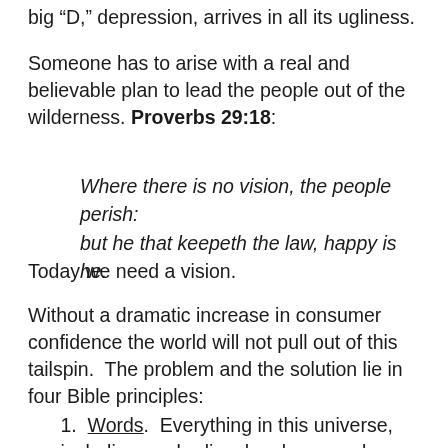big “D,” depression, arrives in all its ugliness.
Someone has to arise with a real and believable plan to lead the people out of the wilderness. Proverbs 29:18:
Where there is no vision, the people perish: but he that keepeth the law, happy is he.
Today we need a vision.
Without a dramatic increase in consumer confidence the world will not pull out of this tailspin.  The problem and the solution lie in four Bible principles:
1.  Words.  Everything in this universe, including our bodies, has been spoken